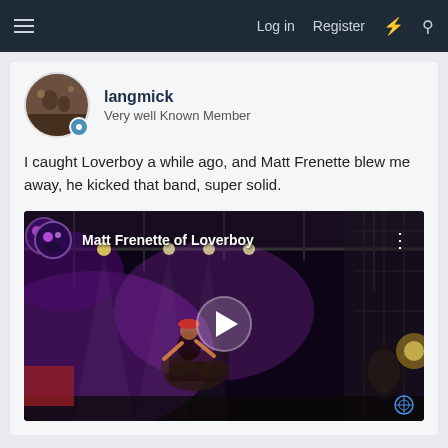Log in  Register
langmick
Very well Known Member
I caught Loverboy a while ago, and Matt Frenette blew me away, he kicked that band, super solid.
[Figure (screenshot): YouTube video thumbnail showing Matt Frenette of Loverboy drumming on stage with concert lighting, purple stage lights, play button overlay. Video title: Matt Frenette of Loverboy]